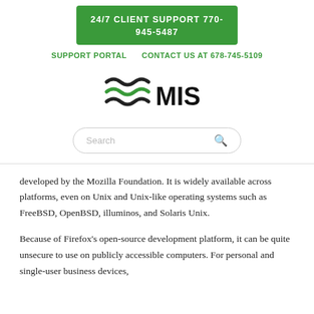24/7 CLIENT SUPPORT 770-945-5487
SUPPORT PORTAL   CONTACT US AT 678-745-5109
[Figure (logo): MIS logo with wave lines in black and green on the left, and bold text 'MIS' on the right]
Search
developed by the Mozilla Foundation. It is widely available across platforms, even on Unix and Unix-like operating systems such as FreeBSD, OpenBSD, illuminos, and Solaris Unix.
Because of Firefox's open-source development platform, it can be quite unsecure to use on publicly accessible computers. For personal and single-user business devices,